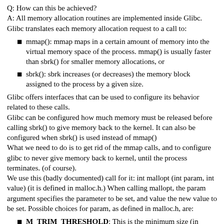Q: How can this be achieved?
A: All memory allocation routines are implemented inside Glibc.
Glibc translates each memory allocation request to a call to:
mmap(): mmap maps in a certain amount of memory into the virtual memory space of the process. mmap() is usually faster than sbrk() for smaller memory allocations, or
sbrk(): sbrk increases (or decreases) the memory block assigned to the process by a given size.
Glibc offers interfaces that can be used to configure its behavior related to these calls.
Glibc can be configured how much memory must be released before calling sbrk() to give memory back to the kernel. It can also be configured when sbrk() is used instead of mmap()
What we need to do is to get rid of the mmap calls, and to configure glibc to never give memory back to kernel, until the process terminates. (of course).
We use this (badly documented) call for it: int mallopt (int param, int value) (it is defined in malloc.h.) When calling mallopt, the param argument specifies the parameter to be set, and value the new value to be set. Possible choices for param, as defined in malloc.h, are:
M_TRIM_THRESHOLD: This is the minimum size (in bytes) of the top-most, releasable chunk that will cause sbrk() to be